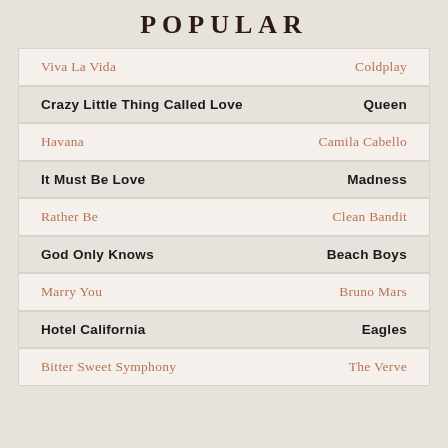POPULAR
| Song | Artist |
| --- | --- |
| Viva La Vida | Coldplay |
| Crazy Little Thing Called Love | Queen |
| Havana | Camila Cabello |
| It Must Be Love | Madness |
| Rather Be | Clean Bandit |
| God Only Knows | Beach Boys |
| Marry You | Bruno Mars |
| Hotel California | Eagles |
| Bitter Sweet Symphony | The Verve |